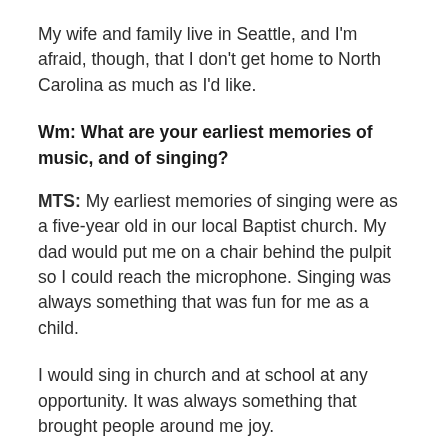My wife and family live in Seattle, and I'm afraid, though, that I don't get home to North Carolina as much as I'd like.
Wm: What are your earliest memories of music, and of singing?
MTS: My earliest memories of singing were as a five-year old in our local Baptist church. My dad would put me on a chair behind the pulpit so I could reach the microphone. Singing was always something that was fun for me as a child.
I would sing in church and at school at any opportunity. It was always something that brought people around me joy.